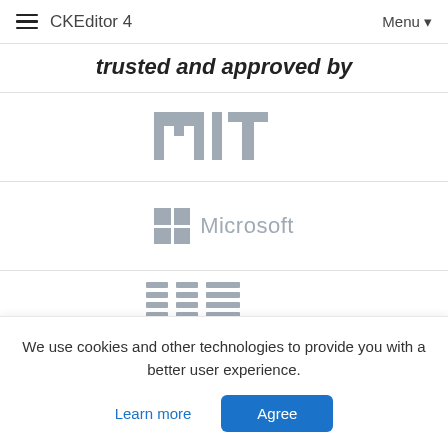CKEditor 4  Menu
trusted and approved by
[Figure (logo): MIT logo in light gray]
[Figure (logo): Microsoft logo with four-square grid icon and text in light gray]
[Figure (logo): IBM logo in light gray striped style (partially visible)]
We use cookies and other technologies to provide you with a better user experience.
Learn more   Agree